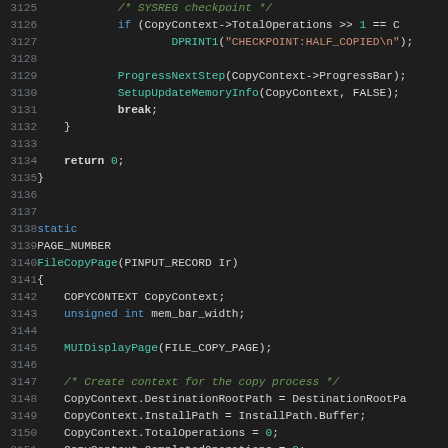[Figure (screenshot): Source code listing showing C code lines 3125-3157, dark theme editor. Code includes a SYSREG checkpoint comment, if condition, DPRINT1 call, ProgressNextStep, SetupUpdateMemoryInfo, break, closing brace, return 0, closing brace, static PAGE_NUMBER FileCopyPage function definition with COPYCONTEXT, MUIDisplayPage, context setup, and progress bar creation.]